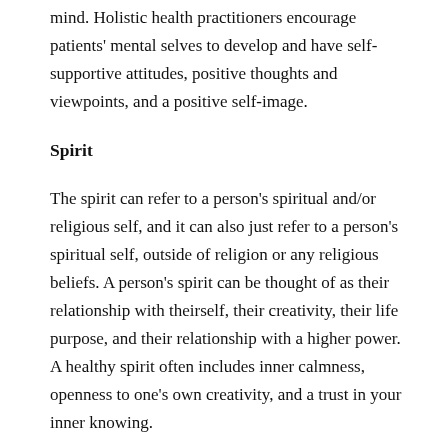mind. Holistic health practitioners encourage patients' mental selves to develop and have self-supportive attitudes, positive thoughts and viewpoints, and a positive self-image.
Spirit
The spirit can refer to a person's spiritual and/or religious self, and it can also just refer to a person's spiritual self, outside of religion or any religious beliefs. A person's spirit can be thought of as their relationship with theirself, their creativity, their life purpose, and their relationship with a higher power. A healthy spirit often includes inner calmness, openness to one's own creativity, and a trust in your inner knowing.
Emotional